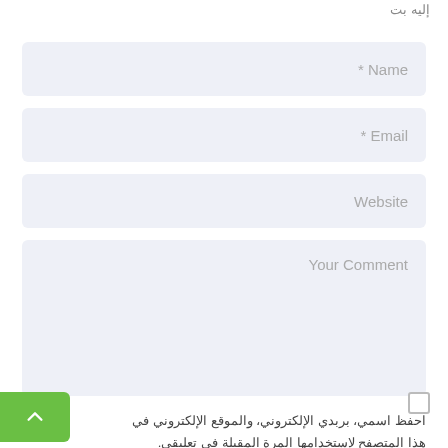إليه بت
* Name
* Email
Website
Your Comment
احفظ اسمي، بربدي الإلكتروني، والموقع الإلكتروني في هذا المتصفح لاستخدامها المرة المقبلة في تعليقي.